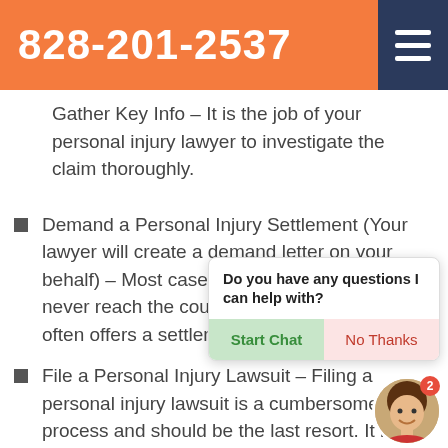828-201-2537
Gather Key Info – It is the job of your personal injury lawyer to investigate the claim thoroughly.
Demand a Personal Injury Settlement (Your lawyer will create a demand letter on your behalf) – Most cases of auto accident injuries never reach the court, since the other party often offers a settlement
[Figure (screenshot): Chat popup widget with message 'Do you have any questions I can help with?' and two buttons: 'Start Chat' and 'No Thanks', plus a circular avatar photo with notification badge showing 2]
File a Personal Injury Lawsuit – Filing a personal injury lawsuit is a cumbersome process and should be the last resort. It is best avoided if